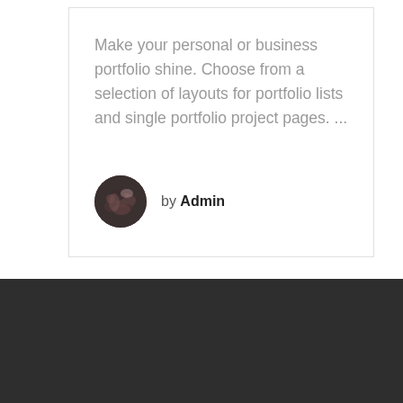Make your personal or business portfolio shine. Choose from a selection of layouts for portfolio lists and single portfolio project pages. ...
by Admin
[Figure (photo): Circular avatar image showing a dark macro photo, used as author profile picture]